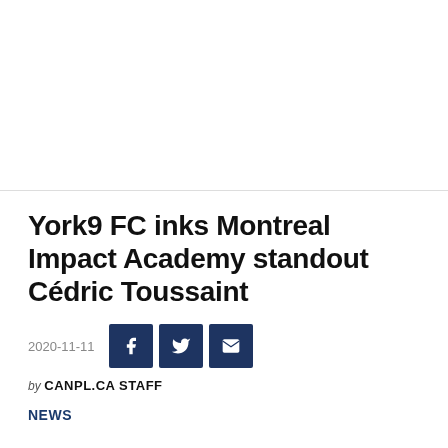[Figure (other): Top white area / image placeholder region above the article]
York9 FC inks Montreal Impact Academy standout Cédric Toussaint
2020-11-11
[Figure (infographic): Social sharing icons: Facebook, Twitter, Email]
by CANPL.CA STAFF
NEWS